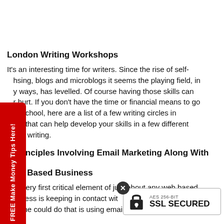London Writing Workshops
It's an interesting time for writers. Since the rise of self-publishing, blogs and microblogs it seems the playing field, in many ways, has levelled. Of course having those skills can never hurt. If you don't have the time or financial means to go to school, here are a list of a few writing circles in London that can help develop your skills in a few different areas of writing.
[Figure (other): Red vertical sidebar tab with white rotated text: FREE Make Money Tips Here!]
Basic Principles Involving Email Marketing Along With Your Web Based Business
The very first critical element of just about any web based business is keeping in contact with your clients; anyone could do that is using email.
[Figure (other): SSL Secured badge with lock icon, AES 256-BIT text, and SSL SECURED in bold, with a close X button]